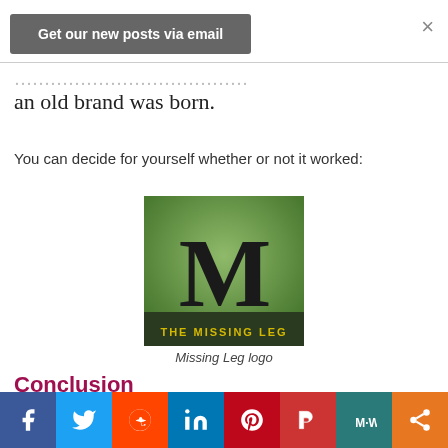Get our new posts via email
an old brand was born.
You can decide for yourself whether or not it worked:
[Figure (logo): Missing Leg logo: square image with green gradient background, large black serif M letter, and text THE MISSING LEG at bottom in yellow/gold on dark bar]
Missing Leg logo
Conclusion